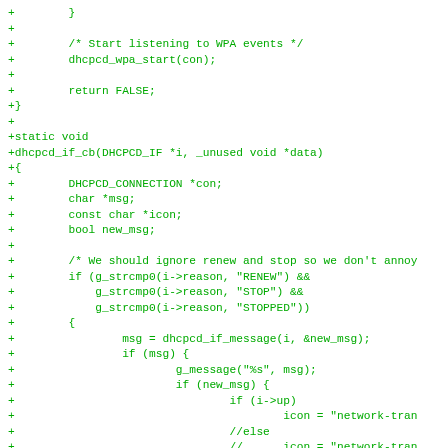[Figure (other): Source code diff showing C code for dhcpcd_if_cb function with green plus signs indicating added lines]